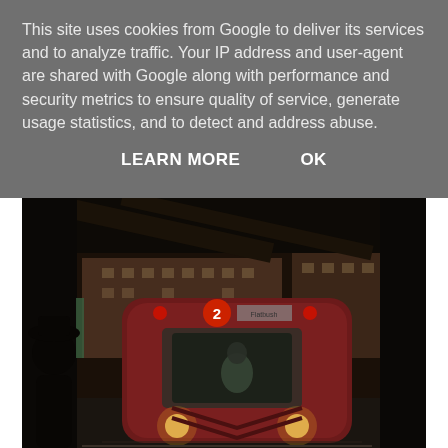This site uses cookies from Google to deliver its services and to analyze traffic. Your IP address and user-agent are shared with Google along with performance and security metrics to ensure quality of service, generate usage statistics, and to detect and address abuse.
LEARN MORE    OK
[Figure (photo): A dark photograph of a subway/elevated train station platform. A red New York City subway train (line 2) is approaching the platform with its headlights on. The silhouette of a person wearing a hat stands to the left. Brick buildings are visible in the background. The scene appears to be taken from under a dark canopy or roof structure.]